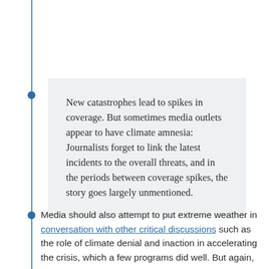New catastrophes lead to spikes in coverage. But sometimes media outlets appear to have climate amnesia: Journalists forget to link the latest incidents to the overall threats, and in the periods between coverage spikes, the story goes largely unmentioned.
Media should also attempt to put extreme weather in conversation with other critical discussions such as the role of climate denial and inaction in accelerating the crisis, which a few programs did well. But again,